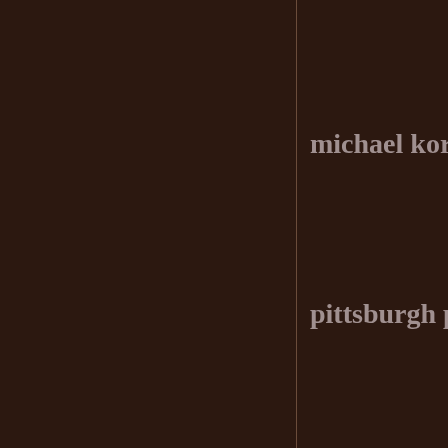michael kors ou
pittsburgh pira
michael kors ou
kate spade outl